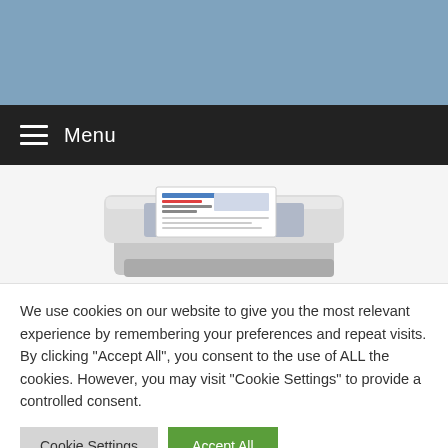[Figure (other): Blue/steel-blue header banner area at the top of the page]
Menu
[Figure (photo): Photo of a white document scanner/printer with a colorful page being scanned]
We use cookies on our website to give you the most relevant experience by remembering your preferences and repeat visits. By clicking "Accept All", you consent to the use of ALL the cookies. However, you may visit "Cookie Settings" to provide a controlled consent.
Cookie Settings
Accept All